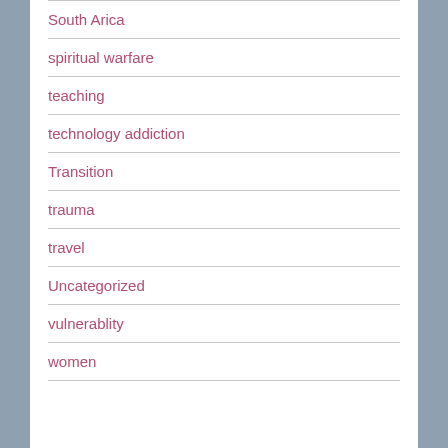South Arica
spiritual warfare
teaching
technology addiction
Transition
trauma
travel
Uncategorized
vulnerablity
women